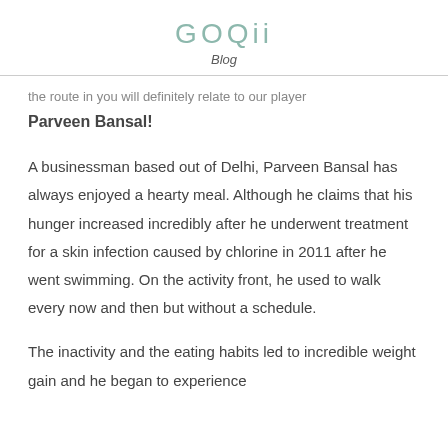GOQii Blog
the route in you will definitely relate to our player Parveen Bansal!
A businessman based out of Delhi, Parveen Bansal has always enjoyed a hearty meal. Although he claims that his hunger increased incredibly after he underwent treatment for a skin infection caused by chlorine in 2011 after he went swimming. On the activity front, he used to walk every now and then but without a schedule.
The inactivity and the eating habits led to incredible weight gain and he began to experience